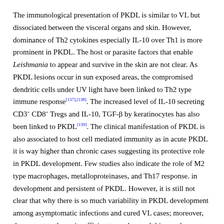The immunological presentation of PKDL is similar to VL but dissociated between the visceral organs and skin. However, dominance of Th2 cytokines especially IL-10 over Th1 is more prominent in PKDL. The host or parasite factors that enable Leishmania to appear and survive in the skin are not clear. As PKDL lesions occur in sun exposed areas, the compromised dendritic cells under UV light have been linked to Th2 type immune response[137],[138]. The increased level of IL-10 secreting CD3+ CD8+ Tregs and IL-10, TGF-β by keratinocytes has also been linked to PKDL[139]. The clinical manifestation of PKDL is also associated to host cell mediated immunity as in acute PKDL it is way higher than chronic cases suggesting its protective role in PKDL development. Few studies also indicate the role of M2 type macrophages, metalloproteinases, and Th17 response. in development and persistent of PKDL. However, it is still not clear that why there is so much variability in PKDL development among asymptomatic infections and cured VL cases; moreover, the current tools are insufficient to understand this puzzle.
7. Concluding remarks
We have made significant progress in VL, but attention wider in the...